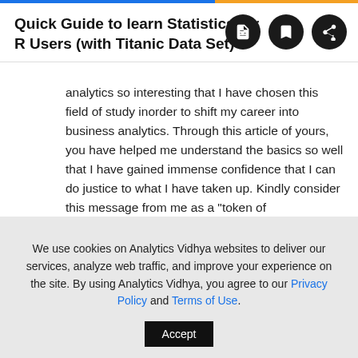Quick Guide to learn Statistics for R Users (with Titanic Data Set)
analytics so interesting that I have chosen this field of study inorder to shift my career into business analytics. Through this article of yours, you have helped me understand the basics so well that I have gained immense confidence that I can do justice to what I have taken up. Kindly consider this message from me as a "token of
We use cookies on Analytics Vidhya websites to deliver our services, analyze web traffic, and improve your experience on the site. By using Analytics Vidhya, you agree to our Privacy Policy and Terms of Use.